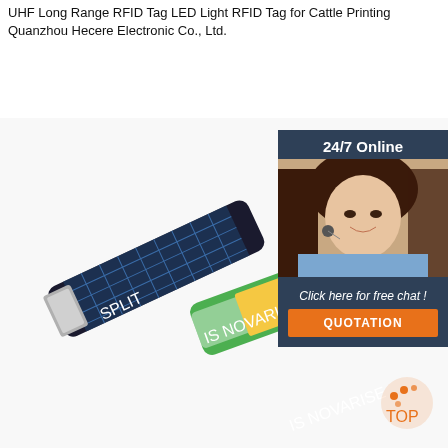UHF Long Range RFID Tag LED Light RFID Tag for Cattle Printing Quanzhou Hecere Electronic Co., Ltd.
Get Price
[Figure (photo): Product photo showing RFID wristbands - one dark navy with maze pattern and silver clasp labeled SPLIT, and one green and white with yellow RFID patch and colorful graphic]
[Figure (photo): 24/7 Online customer service agent - woman with headset smiling]
Click here for free chat !
QUOTATION
TOP